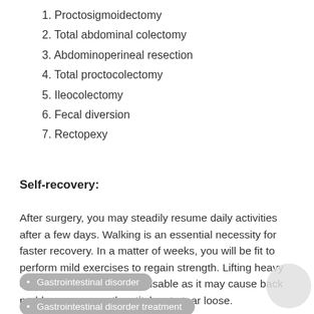1. Proctosigmoidectomy
2. Total abdominal colectomy
3. Abdominoperineal resection
4. Total proctocolectomy
5. Ileocolectomy
6. Fecal diversion
7. Rectopexy
Self-recovery:
After surgery, you may steadily resume daily activities after a few days. Walking is an essential necessity for faster recovery. In a matter of weeks, you will be fit to perform mild exercises to regain strength. Lifting heavy objects however, is not advisable as it may cause back problems or cause the stitches to tear loose.
• Gastrointestinal disorder
• Gastrointestinal disorder treatment